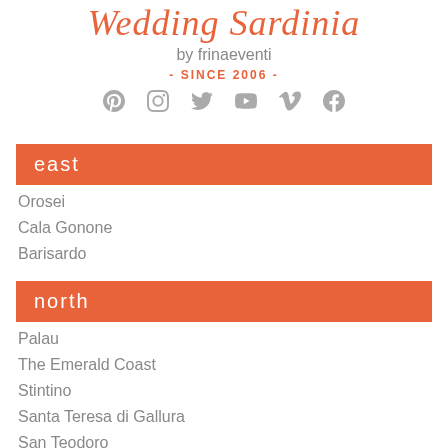Wedding Sardinia
by frinaeventi
- SINCE 2006 -
[Figure (other): Social media icons: Pinterest, Instagram, Twitter, YouTube, Vimeo, Facebook]
east
Orosei
Cala Gonone
Barisardo
north
Palau
The Emerald Coast
Stintino
Santa Teresa di Gallura
San Teodoro
Olbia